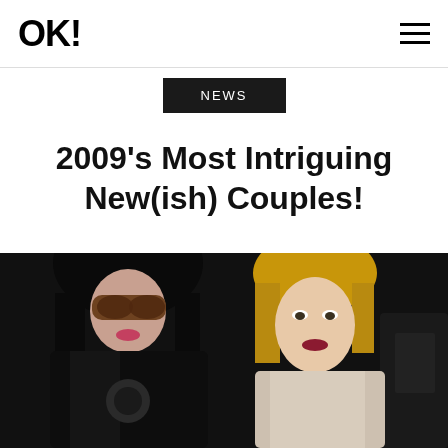OK! [logo] [hamburger menu]
NEWS
2009's Most Intriguing New(ish) Couples!
[Figure (photo): A man with long dark hair and large tinted sunglasses wearing a black leather jacket, standing next to a woman with short blonde hair wearing a light-colored top, both photographed against a dark background.]